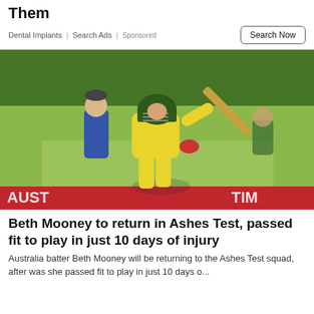Them
Dental Implants | Search Ads | Sponsored
[Figure (photo): Australian women's cricket batter in yellow uniform hitting a shot with a cricket bat, wearing a green Australian helmet. An umpire in blue stands behind. Grass cricket field background with red advertising hoarding reading AUST at bottom.]
Beth Mooney to return in Ashes Test, passed fit to play in just 10 days of injury
Australia batter Beth Mooney will be returning to the Ashes Test squad, after was she passed fit to play in just 10 days o...